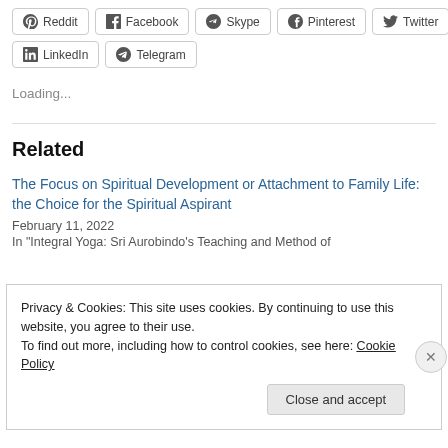Reddit
Facebook
Skype
Pinterest
Twitter
LinkedIn
Telegram
Loading...
Related
The Focus on Spiritual Development or Attachment to Family Life: the Choice for the Spiritual Aspirant
February 11, 2022
In "Integral Yoga: Sri Aurobindo's Teaching and Method of
Privacy & Cookies: This site uses cookies. By continuing to use this website, you agree to their use.
To find out more, including how to control cookies, see here: Cookie Policy
Close and accept